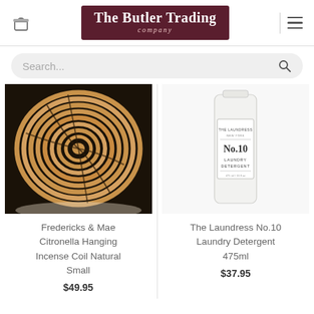The Butler Trading company
Search...
[Figure (photo): Coiled natural incense coil (Fredericks & Mae Citronella Hanging Incense Coil Natural Small), circular spiral of tan rope with dark binding threads, on a dark background.]
[Figure (photo): White cylindrical bottle of The Laundress No.10 Laundry Detergent 475ml with minimal label.]
Fredericks & Mae Citronella Hanging Incense Coil Natural Small
$49.95
The Laundress No.10 Laundry Detergent 475ml
$37.95